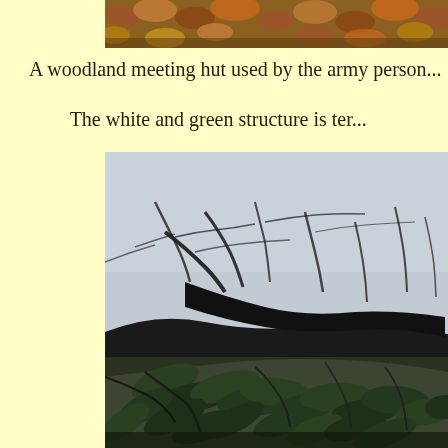[Figure (photo): Top portion of a photo showing autumn woodland ground covered with fallen brown and orange leaves]
A woodland meeting hut used by the army person...
The white and green structure is ter...
[Figure (photo): Photo of woodland trees with dark silhouetted bare branches and rhododendron leaves against a pale grey sky, taken from below looking up and outward]